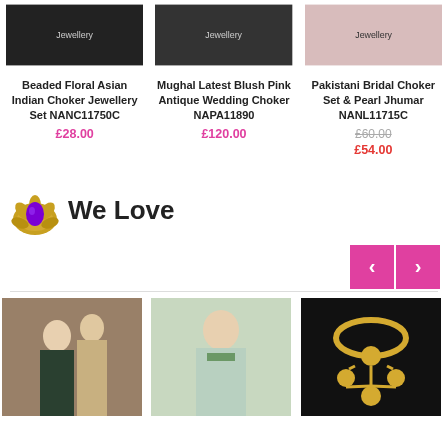[Figure (photo): Three product images of jewellery sets at top of page]
Beaded Floral Asian Indian Choker Jewellery Set NANC11750C
£28.00
Mughal Latest Blush Pink Antique Wedding Choker NAPA11890
£120.00
Pakistani Bridal Choker Set & Pearl Jhumar NANL11715C
£60.00
£54.00
We Love
[Figure (photo): Three inspirational/product photos of South Asian bridal jewellery at bottom of page]